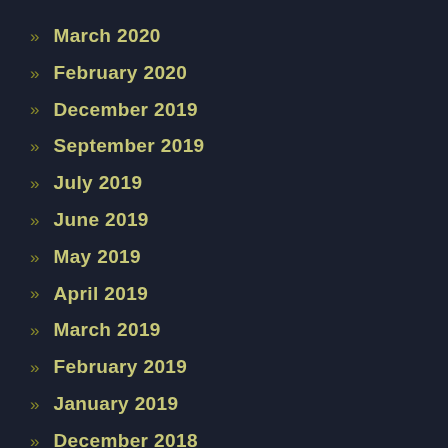» March 2020
» February 2020
» December 2019
» September 2019
» July 2019
» June 2019
» May 2019
» April 2019
» March 2019
» February 2019
» January 2019
» December 2018
» November 2018
» October 2018